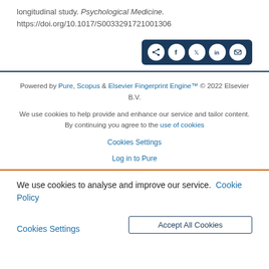longitudinal study. Psychological Medicine. https://doi.org/10.1017/S0033291721001306
[Figure (other): Social share bar with icons for share, Facebook, Twitter, LinkedIn, and email on a dark navy background]
Powered by Pure, Scopus & Elsevier Fingerprint Engine™ © 2022 Elsevier B.V.
We use cookies to help provide and enhance our service and tailor content. By continuing you agree to the use of cookies
Cookies Settings
Log in to Pure
We use cookies to analyse and improve our service. Cookie Policy
Cookies Settings | Accept All Cookies